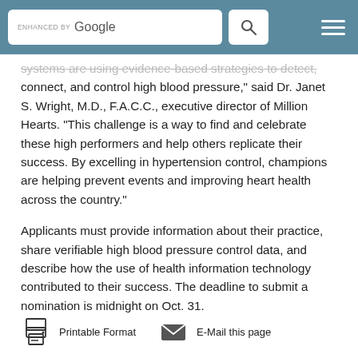ENHANCED BY Google [search icon] [menu icon]
systems are using evidence-based strategies to detect, connect, and control high blood pressure," said Dr. Janet S. Wright, M.D., F.A.C.C., executive director of Million Hearts. "This challenge is a way to find and celebrate these high performers and help others replicate their success. By excelling in hypertension control, champions are helping prevent events and improving heart health across the country."
Applicants must provide information about their practice, share verifiable high blood pressure control data, and describe how the use of health information technology contributed to their success. The deadline to submit a nomination is midnight on Oct. 31.
Printable Format   E-Mail this page